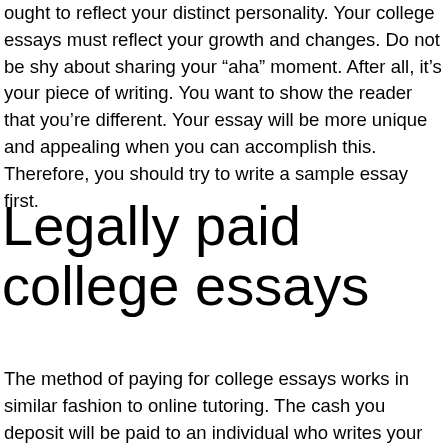ought to reflect your distinct personality. Your college essays must reflect your growth and changes. Do not be shy about sharing your “aha” moment. After all, it’s your piece of writing. You want to show the reader that you’re different. Your essay will be more unique and appealing when you can accomplish this. Therefore, you should try to write a sample essay first.
Legally paid college essays
The method of paying for college essays works in similar fashion to online tutoring. The cash you deposit will be paid to an individual who writes your essay and